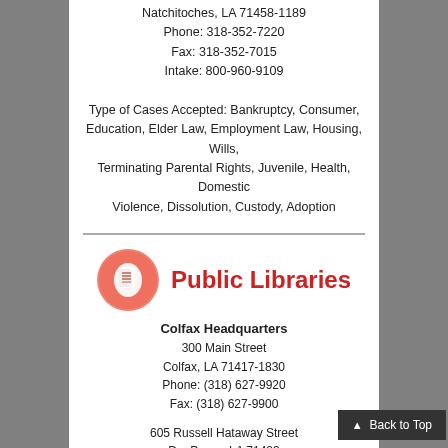Natchitoches, LA 71458-1189
Phone: 318-352-7220
Fax: 318-352-7015
Intake: 800-960-9109
Type of Cases Accepted: Bankruptcy, Consumer, Education, Elder Law, Employment Law, Housing, Wills, Terminating Parental Rights, Juvenile, Health, Domestic Violence, Dissolution, Custody, Adoption
[Figure (logo): Public Libraries logo: a salmon/coral circle with a white book/pages icon on the left, and bold red text 'Public Libraries' on the right]
Colfax Headquarters
300 Main Street
Colfax, LA 71417-1830
Phone: (318) 627-9920
Fax: (318) 627-9900
605 Russell Hataway Street
Dry Prong, LA 71423
Phone: (318) 899-7588
Fax: (318) 899-7588
4570 Highway 500
Georgetown, LA 71432